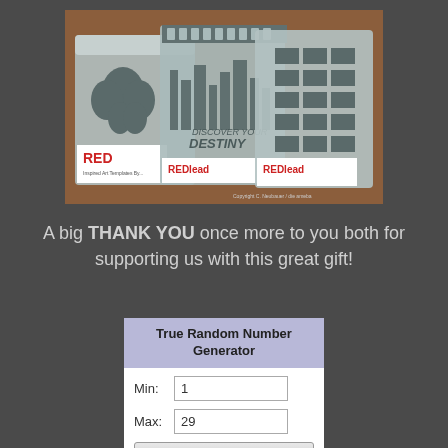[Figure (photo): Photo of three REDlead art stencil packages on a wooden surface. Left stencil shows a butterfly cutout, middle shows 'DISCOVER YOUR DESTINY' text, right shows a grid pattern. Each has a white REDlead branded card attached. Copyright watermark reads 'Copyright C. Neubauer / die ameba'.]
A big THANK YOU once more to you both for supporting us with this great gift!
[Figure (screenshot): True Random Number Generator widget with lavender header, Min field showing '1', Max field showing '29', and a Generate button.]